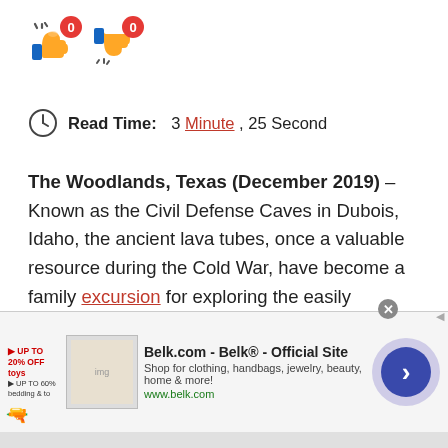[Figure (other): Thumbs up and thumbs down voting buttons with red badge counters showing 0 each]
Read Time: 3 Minute , 25 Second
The Woodlands, Texas (December 2019) – Known as the Civil Defense Caves in Dubois, Idaho, the ancient lava tubes, once a valuable resource during the Cold War, have become a family excursion for exploring the easily accessible caves. In August of 1979, one family hunting for arrowheads in the caves, instead turned up a headless, burlap wrapped male torso. Local law enforcement had to go on except that the torso was found outfitted in
[Figure (screenshot): Infolinks ad bar overlay and Belk.com advertisement banner at bottom of page]